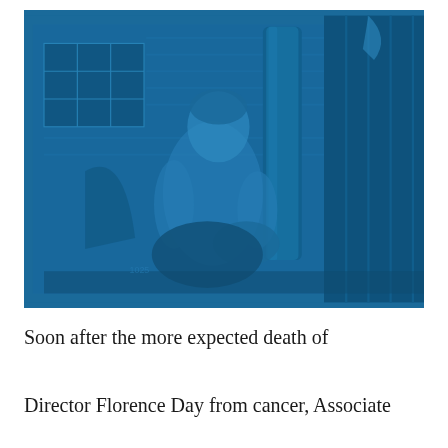[Figure (photo): Blue-tinted black and white photograph of a person (appears to be a woman) standing or leaning near industrial or mechanical equipment, possibly inside a building. A window with grid panes is visible in the background left. There are cylindrical objects and pipes visible.]
Soon after the more expected death of Director Florence Day from cancer, Associate